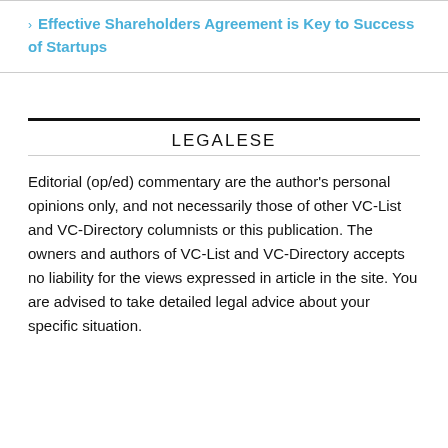Effective Shareholders Agreement is Key to Success of Startups
LEGALESE
Editorial (op/ed) commentary are the author's personal opinions only, and not necessarily those of other VC-List and VC-Directory columnists or this publication. The owners and authors of VC-List and VC-Directory accepts no liability for the views expressed in article in the site. You are advised to take detailed legal advice about your specific situation.